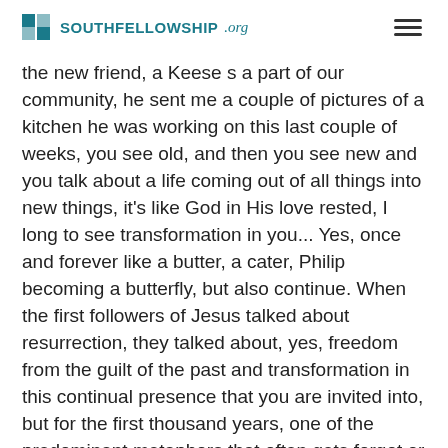SOUTHFELLOWSHIP.org
the new friend, a Keese s a part of our community, he sent me a couple of pictures of a kitchen he was working on this last couple of weeks, you see old, and then you see new and you talk about a life coming out of all things into new things, it's like God in His love rested, I long to see transformation in you... Yes, once and forever like a butter, a cater, Philip becoming a butterfly, but also continue. When the first followers of Jesus talked about resurrection, they talked about, yes, freedom from the guilt of the past and transformation in this continual presence that you are invited into, but for the first thousand years, one of the predominant metaphors that often gets forgot or forgotten today is the idea that Jesus was victor over death, that Jesus death was a victory that every single